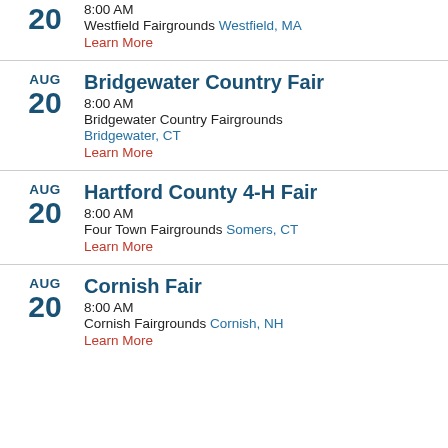AUG 20 — 8:00 AM, Westfield Fairgrounds, Westfield, MA. Learn More
AUG 20 — Bridgewater Country Fair, 8:00 AM, Bridgewater Country Fairgrounds, Bridgewater, CT. Learn More
AUG 20 — Hartford County 4-H Fair, 8:00 AM, Four Town Fairgrounds, Somers, CT. Learn More
AUG 20 — Cornish Fair, 8:00 AM, Cornish Fairgrounds, Cornish, NH. Learn More